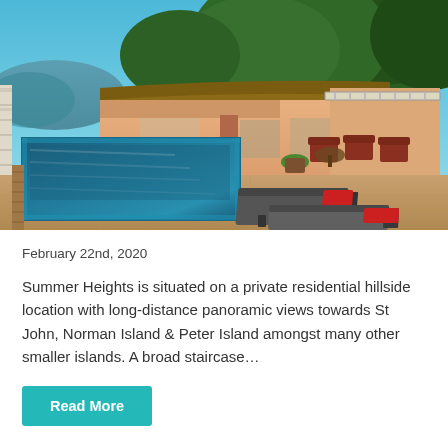[Figure (photo): Exterior photo of Summer Heights villa showing a hillside property with a rectangular swimming pool, lounge chairs, terrace, and tropical greenery under a blue sky.]
February 22nd, 2020
Summer Heights is situated on a private residential hillside location with long-distance panoramic views towards St John, Norman Island & Peter Island amongst many other smaller islands. A broad staircase…
Read More